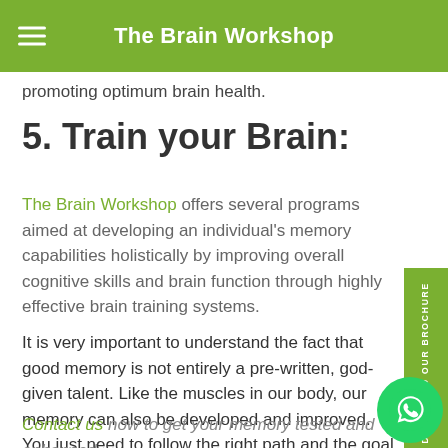The Brain Workshop
promoting optimum brain health.
5. Train your Brain:
The Brain Workshop offers several programs aimed at developing an individual's memory capabilities holistically by improving overall cognitive skills and brain function through highly effective brain training systems.
It is very important to understand the fact that good memory is not entirely a pre-written, god-given talent. Like the muscles in our body, our memory can also be developed and improved. You just need to follow the right path and the goal can be achieved.
Contact us now to get your memory tested and enhanced through scientifically researched, tried and tested methods, and feel the benefits of an upgraded memory in all your daily...